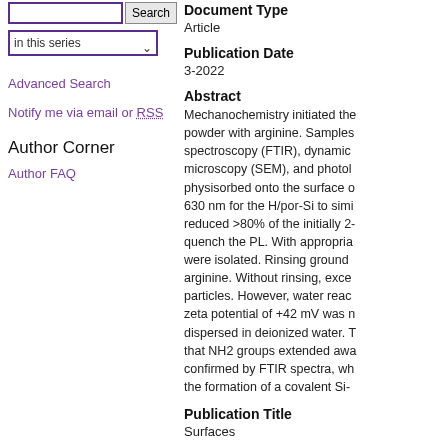in this series
Advanced Search
Notify me via email or RSS
Author Corner
Author FAQ
Document Type
Article
Publication Date
3-2022
Abstract
Mechanochemistry initiated the powder with arginine. Samples spectroscopy (FTIR), dynamic microscopy (SEM), and photol physisorbed onto the surface o 630 nm for the H/por-Si to simi reduced >80% of the initially 2- quench the PL. With appropria were isolated. Rinsing ground arginine. Without rinsing, exce particles. However, water reac zeta potential of +42 mV was n dispersed in deionized water. T that NH2 groups extended awa confirmed by FTIR spectra, wh the formation of a covalent Si-
Publication Title
Surfaces
ISSN